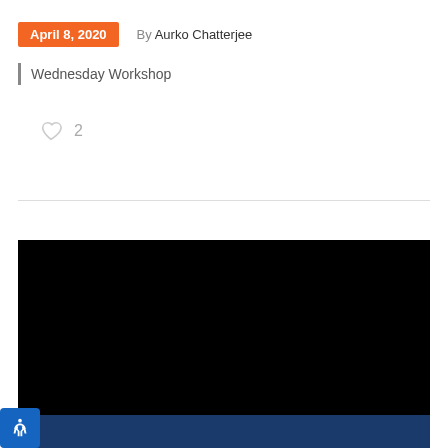April 8, 2020  By Aurko Chatterjee
| Wednesday Workshop
2
[Figure (screenshot): Black video player embedded in the page, with a dark navy blue bar at the bottom edge]